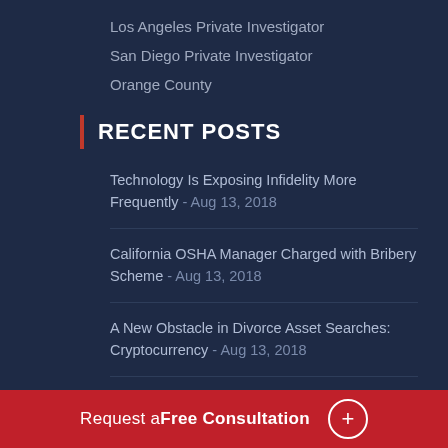Los Angeles Private Investigator
San Diego Private Investigator
Orange County
RECENT POSTS
Technology Is Exposing Infidelity More Frequently - Aug 13, 2018
California OSHA Manager Charged with Bribery Scheme - Aug 13, 2018
A New Obstacle in Divorce Asset Searches: Cryptocurrency - Aug 13, 2018
California Attorney Gets Prison Time for Short Sche...
Request a Free Consultation